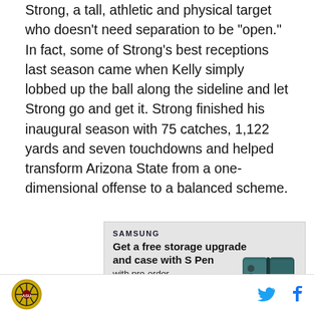Strong, a tall, athletic and physical target who doesn't need separation to be "open." In fact, some of Strong's best receptions last season came when Kelly simply lobbed up the ball along the sideline and let Strong go and get it. Strong finished his inaugural season with 75 catches, 1,122 yards and seven touchdowns and helped transform Arizona State from a one-dimensional offense to a balanced scheme.
[Figure (screenshot): Samsung advertisement showing 'Get a free storage upgrade and case with S Pen with pre-order' with a Samsung Galaxy Z Fold phone image and a circular arrow button.]
Site logo (Arizona basketball) | Twitter icon | Facebook icon